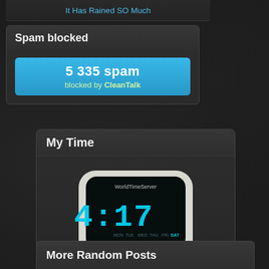It Has Rained SO Much
Spam blocked
5 335 spam blocked by CleanTalk
My Time
[Figure (illustration): Digital clock widget showing 04:17 with WorldTimeServer branding and day indicators (MON TUE WED THU FRI SAT SUN), labeled Seattle]
More Random Posts